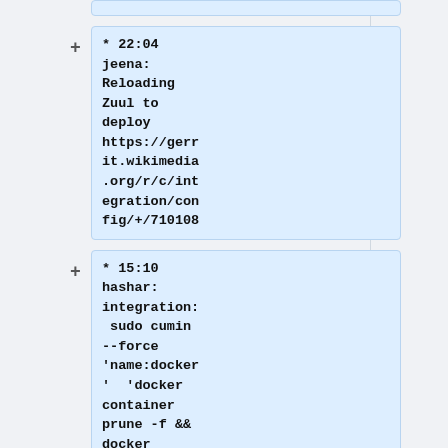* 22:04 jeena: Reloading Zuul to deploy https://gerrit.wikimedia.org/r/c/integration/config/+/710108
* 15:10 hashar: integration: sudo cumin --force 'name:docker' 'docker container prune -f && docker